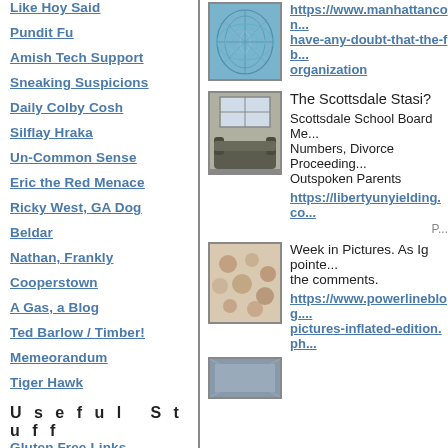Like Hoy Said
Pundit Fu
Amish Tech Support
Sneaking Suspicions
Daily Colby Cosh
Silflay Hraka
Un-Common Sense
Eric the Red Menace
Ricky West, GA Dog
Beldar
Nathan, Frankly
Cooperstown
A Gas, a Blog
Ted Barlow / Timber!
Memeorandum
Tiger Hawk
Useful Stuff
Gluten Free Links
[Figure (illustration): Blue abstract leaf/mesh pattern thumbnail image]
https://www.manhattancon... have-any-doubt-that-the-fb... organization
[Figure (photo): Photo of a gray couch/sofa near a window]
The Scottsdale Stasi?
Scottsdale School Board Me... Numbers, Divorce Proceeding... Outspoken Parents
https://libertyunyielding.co...
[Figure (photo): Close-up photo of beige/tan spotted fabric or tile]
Week in Pictures. As Ig pointe... the comments.
https://www.powerlineblog.... pictures-inflated-edition.ph...
[Figure (photo): Small thumbnail image at bottom right]